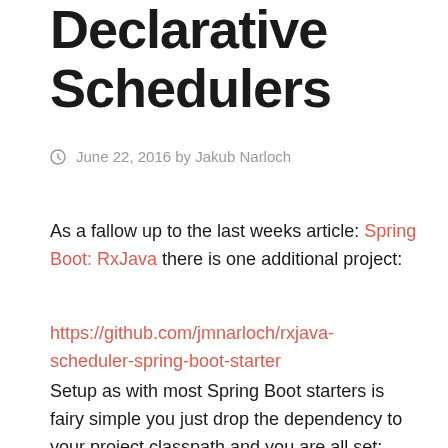Declarative Schedulers
June 22, 2016 by Jakub Narloch
As a fallow up to the last weeks article: Spring Boot: RxJava there is one additional project:
https://github.com/jmnarloch/rxjava-scheduler-spring-boot-starter
Setup as with most Spring Boot starters is fairy simple you just drop the dependency to your project classpath and you are all set: